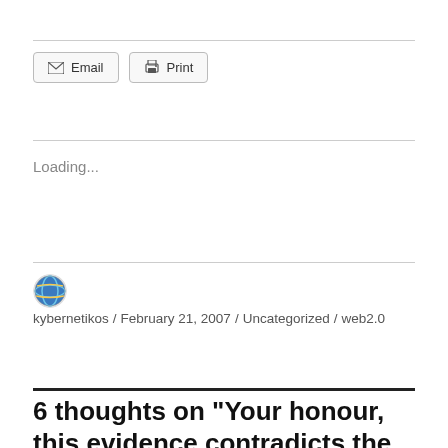[Figure (other): Email and Print buttons row]
Loading...
kybernetikos / February 21, 2007 / Uncategorized / web2.0
6 thoughts on “Your honour, this evidence contradicts the